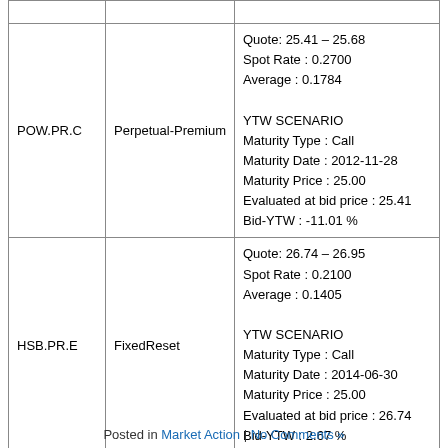|  |  |  |
| --- | --- | --- |
|  |  |  |
| POW.PR.C | Perpetual-Premium | Quote: 25.41 – 25.68
Spot Rate : 0.2700
Average : 0.1784

YTW SCENARIO
Maturity Type : Call
Maturity Date : 2012-11-28
Maturity Price : 25.00
Evaluated at bid price : 25.41
Bid-YTW : -11.01 % |
| HSB.PR.E | FixedReset | Quote: 26.74 – 26.95
Spot Rate : 0.2100
Average : 0.1405

YTW SCENARIO
Maturity Type : Call
Maturity Date : 2014-06-30
Maturity Price : 25.00
Evaluated at bid price : 26.74
Bid-YTW : 2.67 % |
Posted in Market Action | No Comments »